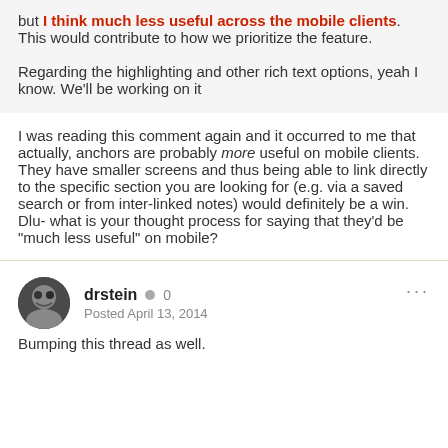but I think much less useful across the mobile clients. This would contribute to how we prioritize the feature.

Regarding the highlighting and other rich text options, yeah I know. We'll be working on it
I was reading this comment again and it occurred to me that actually, anchors are probably more useful on mobile clients. They have smaller screens and thus being able to link directly to the specific section you are looking for (e.g. via a saved search or from inter-linked notes) would definitely be a win. Dlu- what is your thought process for saying that they'd be "much less useful" on mobile?
drstein  0
Posted April 13, 2014
Bumping this thread as well.